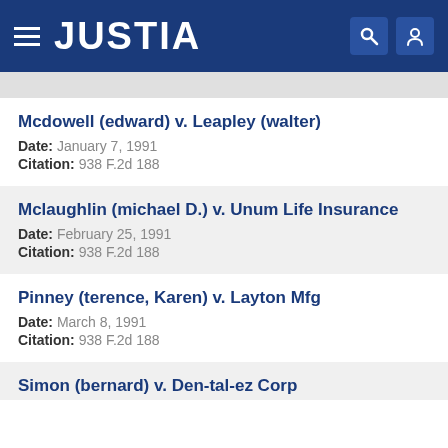JUSTIA
Mcdowell (edward) v. Leapley (walter)
Date: January 7, 1991
Citation: 938 F.2d 188
Mclaughlin (michael D.) v. Unum Life Insurance
Date: February 25, 1991
Citation: 938 F.2d 188
Pinney (terence, Karen) v. Layton Mfg
Date: March 8, 1991
Citation: 938 F.2d 188
Simon (bernard) v. Den-tal-ez Corp